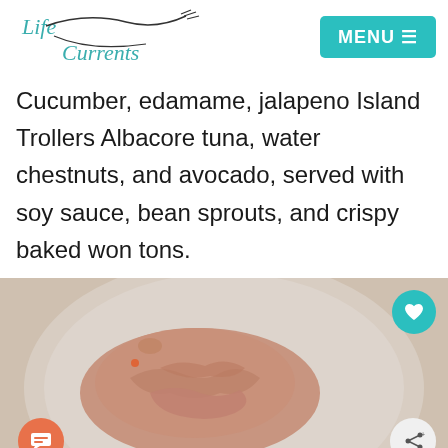Life Currents | MENU
Cucumber, edamame, jalapeno Island Trollers Albacore tuna, water chestnuts, and avocado, served with soy sauce, bean sprouts, and crispy baked won tons.
[Figure (photo): Photo of tuna fish on a plate, with orange chat FAB button lower left, teal heart FAB button upper right, and grey share FAB button lower right]